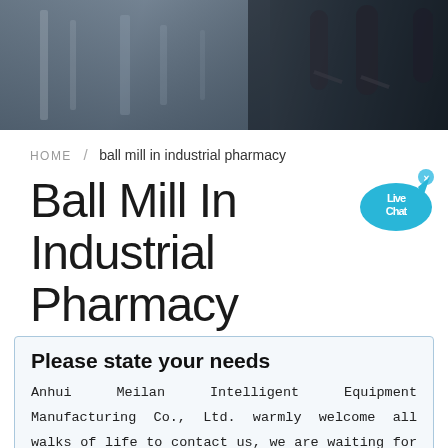[Figure (photo): Industrial equipment and microphones in a factory/studio setting, blurred background photo used as hero banner]
HOME / ball mill in industrial pharmacy
Ball Mill In Industrial Pharmacy
[Figure (illustration): Live Chat speech bubble icon in cyan/blue with white text 'Live Chat' and an 'x' close button]
Please state your needs
Anhui Meilan Intelligent Equipment Manufacturing Co., Ltd. warmly welcome all walks of life to contact us, we are waiting for your inquiry all day!
Name *